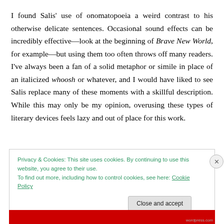I found Salis' use of onomatopoeia a weird contrast to his otherwise delicate sentences. Occasional sound effects can be incredibly effective—look at the beginning of Brave New World, for example—but using them too often throws off many readers. I've always been a fan of a solid metaphor or simile in place of an italicized whoosh or whatever, and I would have liked to see Salis replace many of these moments with a skillful description. While this may only be my opinion, overusing these types of literary devices feels lazy and out of place for this work.
Privacy & Cookies: This site uses cookies. By continuing to use this website, you agree to their use.
To find out more, including how to control cookies, see here: Cookie Policy